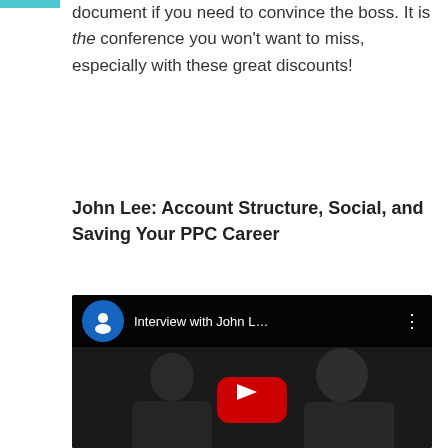document if you need to convince the boss. It is the conference you won't want to miss, especially with these great discounts!
John Lee: Account Structure, Social, and Saving Your PPC Career
[Figure (screenshot): Embedded YouTube video player showing 'Interview with John L...' with two people visible in a dark room setting, YouTube play button overlay in center]